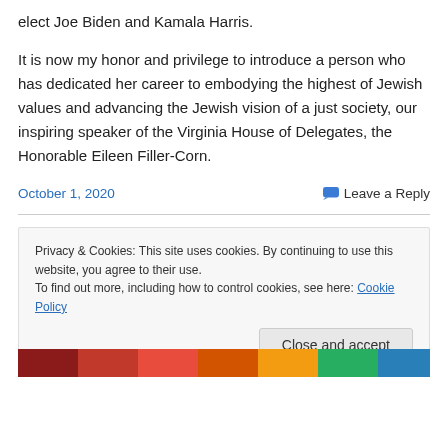elect Joe Biden and Kamala Harris.
It is now my honor and privilege to introduce a person who has dedicated her career to embodying the highest of Jewish values and advancing the Jewish vision of a just society, our inspiring speaker of the Virginia House of Delegates, the Honorable Eileen Filler-Corn.
October 1, 2020
Leave a Reply
Privacy & Cookies: This site uses cookies. By continuing to use this website, you agree to their use. To find out more, including how to control cookies, see here: Cookie Policy
[Figure (photo): Partial image visible at bottom of page]